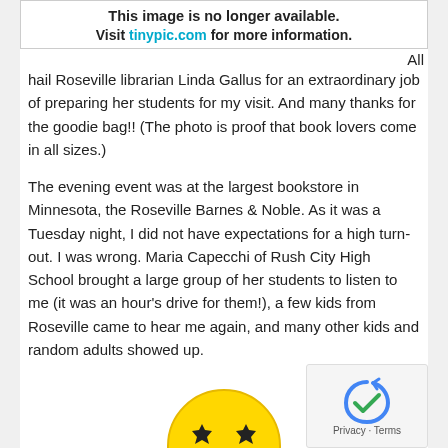[Figure (screenshot): Image unavailable placeholder with text: 'This image is no longer available. Visit tinypic.com for more information.']
All hail Roseville librarian Linda Gallus for an extraordinary job of preparing her students for my visit. And many thanks for the goodie bag!! (The photo is proof that book lovers come in all sizes.)
The evening event was at the largest bookstore in Minnesota, the Roseville Barnes & Noble. As it was a Tuesday night, I did not have expectations for a high turn-out. I was wrong. Maria Capecchi of Rush City High School brought a large group of her students to listen to me (it was an hour's drive for them!), a few kids from Roseville came to hear me again, and many other kids and random adults showed up.
[Figure (illustration): Yellow smiley face emoji with star eyes, partially visible at bottom of page.]